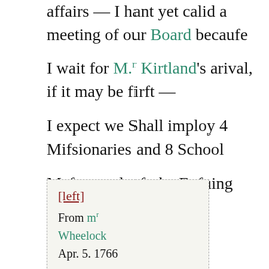affairs — I hant yet calid a meeting of our Board becaufe
I wait for M.r Kirtland's arival, if it may be firft —
I expect we Shall imploy 4 Mifsionaries and 8 School
Mafters at leaft the Enfuing Seafon. viz. Mefsr̃s Chamberlain
Kirtland
[left]
From mr Wheelock
Apr. 5. 1766